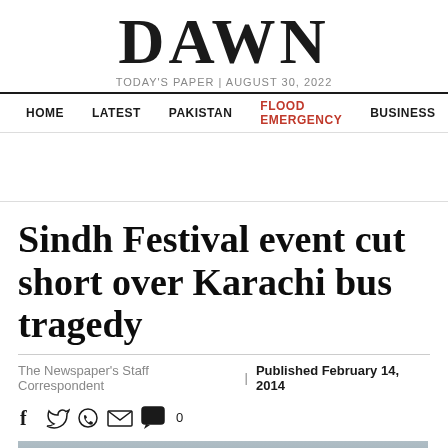DAWN — TODAY'S PAPER | AUGUST 30, 2022
HOME | LATEST | PAKISTAN | FLOOD EMERGENCY | BUSINESS
Sindh Festival event cut short over Karachi bus tragedy
The Newspaper's Staff Correspondent | Published February 14, 2014
[Figure (photo): Photo showing decorated bull heads at Sindh Festival event]